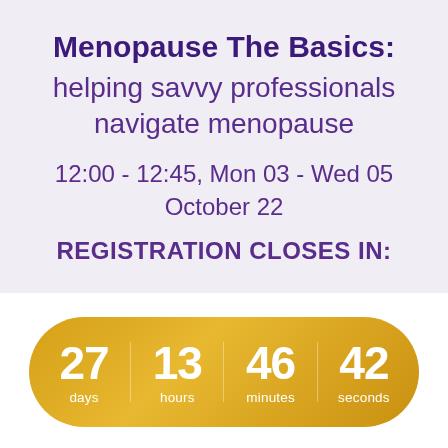Menopause The Basics: helping savvy professionals navigate menopause
12:00 - 12:45, Mon 03 - Wed 05 October 22
REGISTRATION CLOSES IN:
[Figure (infographic): Golden pill-shaped countdown timer showing 27 days, 13 hours, 46 minutes, 42 seconds]